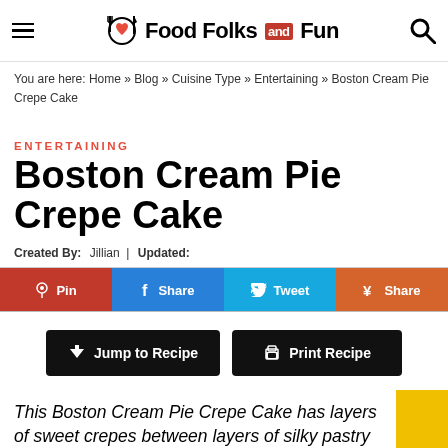Food Folks and Fun
You are here: Home » Blog » Cuisine Type » Entertaining » Boston Cream Pie Crepe Cake
ENTERTAINING
Boston Cream Pie Crepe Cake
Created By: Jillian | Updated: January 30, 2021 | View Our Disclosure Policy
Pin | Share | Tweet | Share
Jump to Recipe | Print Recipe
This Boston Cream Pie Crepe Cake has layers of sweet crepes between layers of silky pastry cream